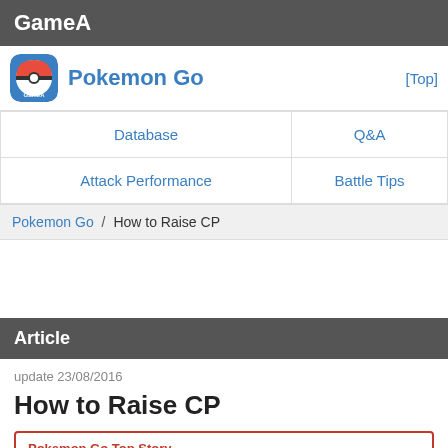GameA
Pokemon Go
| Database | Q&A |
| Attack Performance | Battle Tips |
Pokemon Go / How to Raise CP
Article
update 23/08/2016
How to Raise CP
Pokemon Go Top Story
Is Suicune good?
This page notes what CP is, how to raise CP, and how to check CP of an